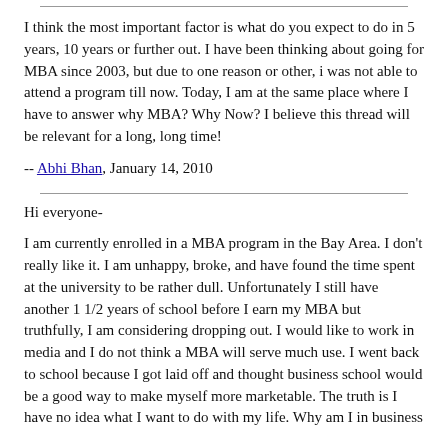I think the most important factor is what do you expect to do in 5 years, 10 years or further out. I have been thinking about going for MBA since 2003, but due to one reason or other, i was not able to attend a program till now. Today, I am at the same place where I have to answer why MBA? Why Now? I believe this thread will be relevant for a long, long time!
-- Abhi Bhan, January 14, 2010
Hi everyone-
I am currently enrolled in a MBA program in the Bay Area. I don't really like it. I am unhappy, broke, and have found the time spent at the university to be rather dull. Unfortunately I still have another 1 1/2 years of school before I earn my MBA but truthfully, I am considering dropping out. I would like to work in media and I do not think a MBA will serve much use. I went back to school because I got laid off and thought business school would be a good way to make myself more marketable. The truth is I have no idea what I want to do with my life. Why am I in business